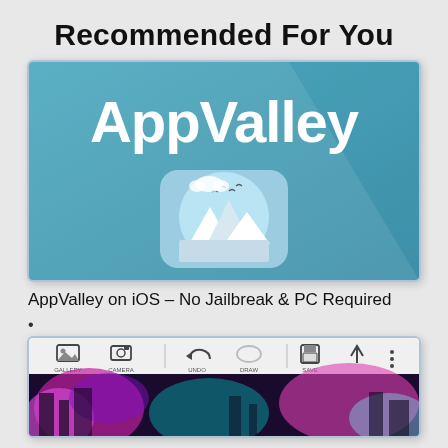Recommended For You
[Figure (screenshot): AppValley app logo screenshot: teal/blue background with large white bold 'AppValley' text and a round mountain/sky icon below]
AppValley on iOS – No Jailbreak & PC Required
•
[Figure (screenshot): Photo editing app screenshot showing toolbar icons (gallery, camera, undo, draw, save, more) and a colorful psychedelic city image below]